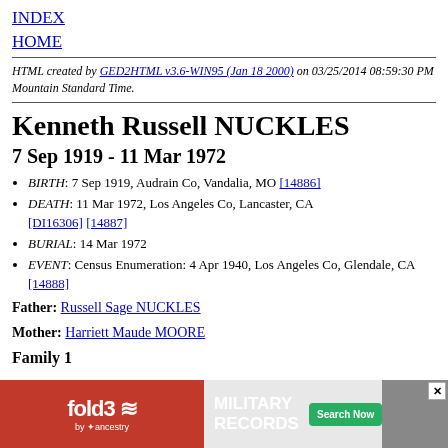INDEX
HOME
HTML created by GED2HTML v3.6-WIN95 (Jan 18 2000) on 03/25/2014 08:59:30 PM Mountain Standard Time.
Kenneth Russell NUCKLES
7 Sep 1919 - 11 Mar 1972
BIRTH: 7 Sep 1919, Audrain Co, Vandalia, MO [14886]
DEATH: 11 Mar 1972, Los Angeles Co, Lancaster, CA [DI16306] [14887]
BURIAL: 14 Mar 1972
EVENT: Census Enumeration: 4 Apr 1940, Los Angeles Co, Glendale, CA [14888]
Father: Russell Sage NUCKLES
Mother: Harriett Maude MOORE
Family 1